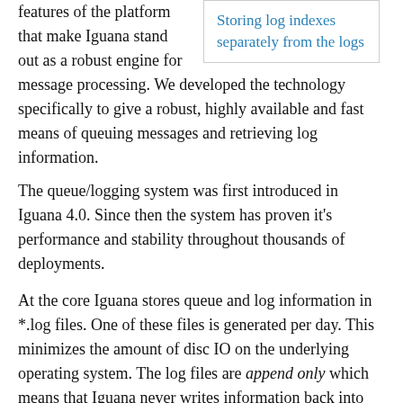Storing log indexes separately from the logs
features of the platform that make Iguana stand out as a robust engine for message processing. We developed the technology specifically to give a robust, highly available and fast means of queuing messages and retrieving log information.
The queue/logging system was first introduced in Iguana 4.0. Since then the system has proven it's performance and stability throughout thousands of deployments.
At the core Iguana stores queue and log information in *.log files. One of these files is generated per day. This minimizes the amount of disc IO on the underlying operating system. The log files are append only which means that Iguana never writes information back into the middle of these files. This is highly fault tolerant design that makes it possible to replicate and do hot back ups on these files without needing to stop Iguana. No